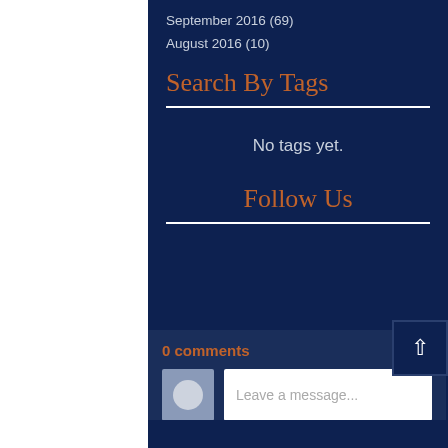September 2016 (69)
August 2016 (10)
Search By Tags
No tags yet.
Follow Us
0 comments
Leave a message...